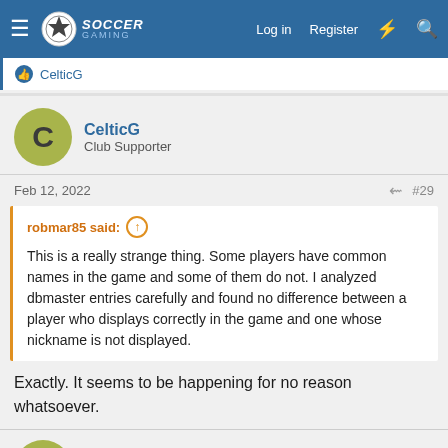Soccer Gaming — Log in | Register
CelticG
CelticG
Club Supporter
Feb 12, 2022  #29
robmar85 said: ↑
This is a really strange thing. Some players have common names in the game and some of them do not. I analyzed dbmaster entries carefully and found no difference between a player who displays correctly in the game and one whose nickname is not displayed.
Exactly. It seems to be happening for no reason whatsoever.
CelticG
Club Supporter